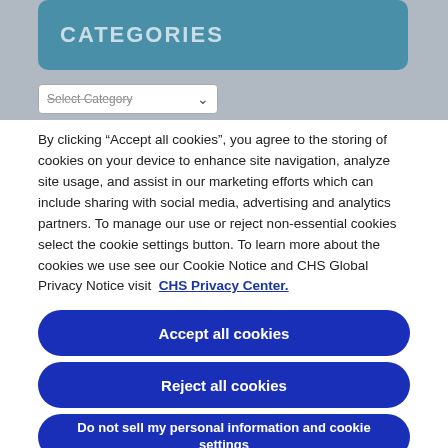CATEGORIES
[Figure (screenshot): Dropdown select field labeled 'Select Category' with a down-arrow icon]
By clicking “Accept all cookies”, you agree to the storing of cookies on your device to enhance site navigation, analyze site usage, and assist in our marketing efforts which can include sharing with social media, advertising and analytics partners. To manage our use or reject non-essential cookies select the cookie settings button. To learn more about the cookies we use see our Cookie Notice and CHS Global Privacy Notice visit  CHS Privacy Center.
Accept all cookies
Reject all cookies
Do not sell my personal information and cookie settings